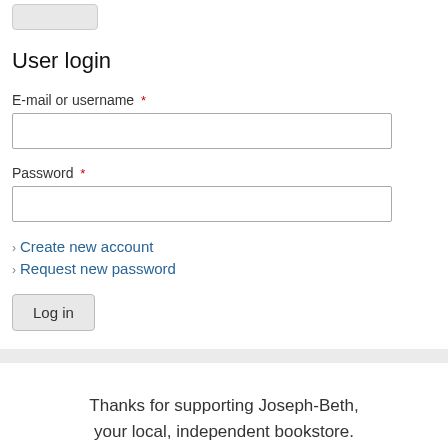[Figure (other): Partially visible grey button stub at top of page]
User login
E-mail or username *
Password *
Create new account
Request new password
Log in
Thanks for supporting Joseph-Beth, your local, independent bookstore.